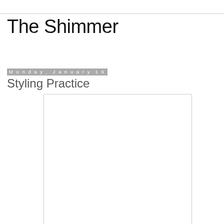The Shimmer
Monday, January 19
Styling Practice
[Figure (other): Empty white content box with light gray border]